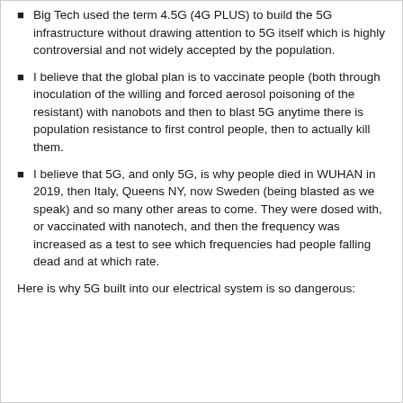Big Tech used the term 4.5G (4G PLUS) to build the 5G infrastructure without drawing attention to 5G itself which is highly controversial and not widely accepted by the population.
I believe that the global plan is to vaccinate people (both through inoculation of the willing and forced aerosol poisoning of the resistant) with nanobots and then to blast 5G anytime there is population resistance to first control people, then to actually kill them.
I believe that 5G, and only 5G, is why people died in WUHAN in 2019, then Italy, Queens NY, now Sweden (being blasted as we speak) and so many other areas to come. They were dosed with, or vaccinated with nanotech, and then the frequency was increased as a test to see which frequencies had people falling dead and at which rate.
Here is why 5G built into our electrical system is so dangerous: